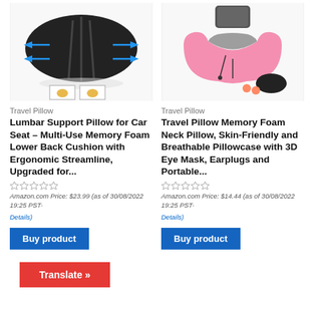[Figure (photo): Black lumbar support pillow with blue arrows showing stretch directions, and two small diagrams showing proper sitting posture]
[Figure (photo): Pink and gray memory foam travel neck pillow with black carrying case, eye mask, and orange earplugs]
Travel Pillow
Travel Pillow
Lumbar Support Pillow for Car Seat – Multi-Use Memory Foam Lower Back Cushion with Ergonomic Streamline, Upgraded for...
Travel Pillow Memory Foam Neck Pillow, Skin-Friendly and Breathable Pillowcase with 3D Eye Mask, Earplugs and Portable...
Amazon.com Price: $23.99 (as of 30/08/2022 19:25 PST- Details)
Amazon.com Price: $14.44 (as of 30/08/2022 19:25 PST- Details)
Buy product
Buy product
Translate »